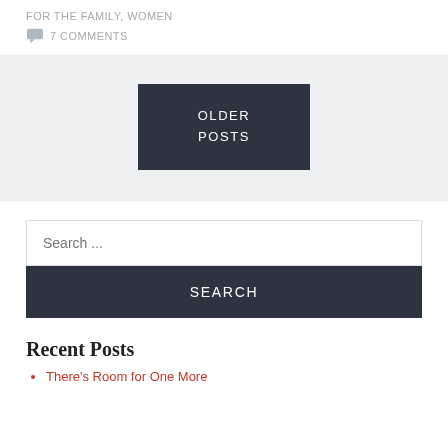FOR THE FAMILY, WOMEN
7 COMMENTS
OLDER POSTS
Search ...
SEARCH
Recent Posts
There's Room for One More